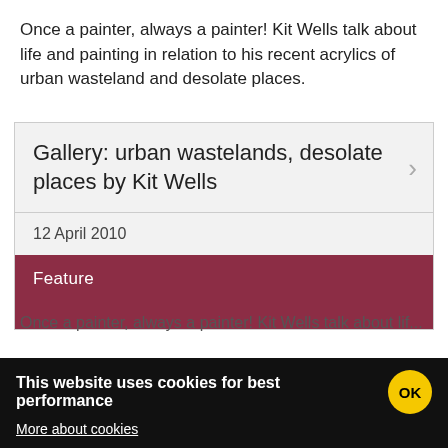Once a painter, always a painter! Kit Wells talk about life and painting in relation to his recent acrylics of urban wasteland and desolate places.
Gallery: urban wastelands, desolate places by Kit Wells
12 April 2010
Feature
Page partially visible (cut off)
This website uses cookies for best performance
More about cookies